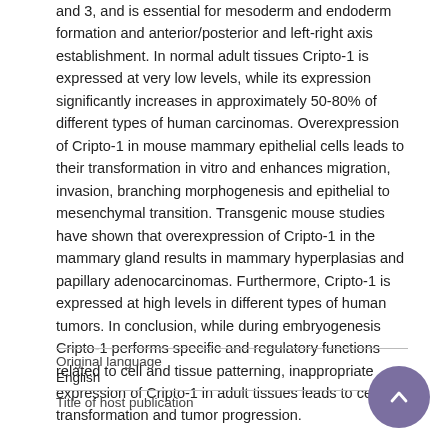and 3, and is essential for mesoderm and endoderm formation and anterior/posterior and left-right axis establishment. In normal adult tissues Cripto-1 is expressed at very low levels, while its expression significantly increases in approximately 50-80% of different types of human carcinomas. Overexpression of Cripto-1 in mouse mammary epithelial cells leads to their transformation in vitro and enhances migration, invasion, branching morphogenesis and epithelial to mesenchymal transition. Transgenic mouse studies have shown that overexpression of Cripto-1 in the mammary gland results in mammary hyperplasias and papillary adenocarcinomas. Furthermore, Cripto-1 is expressed at high levels in different types of human tumors. In conclusion, while during embryogenesis Cripto-1 performs specific and regulatory functions related to cell and tissue patterning, inappropriate expression of Cripto-1 in adult tissues leads to cell transformation and tumor progression.
| Field | Value |
| --- | --- |
| Original language | English |
| Title of host publication |  |